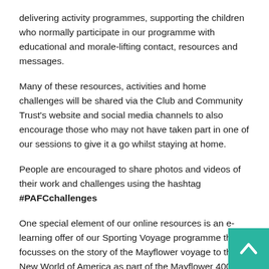delivering activity programmes, supporting the children who normally participate in our programme with educational and morale-lifting contact, resources and messages.
Many of these resources, activities and home challenges will be shared via the Club and Community Trust's website and social media channels to also encourage those who may not have taken part in one of our sessions to give it a go whilst staying at home.
People are encouraged to share photos and videos of their work and challenges using the hashtag #PAFCchallenges
One special element of our online resources is an e-learning offer of our Sporting Voyage programme that focusses on the story of the Mayflower voyage to the New World of America as part of the Mayflower 400 commemorations. Downloadable booklets, home challenges and videos can be accessed
[Figure (other): Teal/green back-to-top button with white chevron arrow icon in the bottom-right corner of the page]